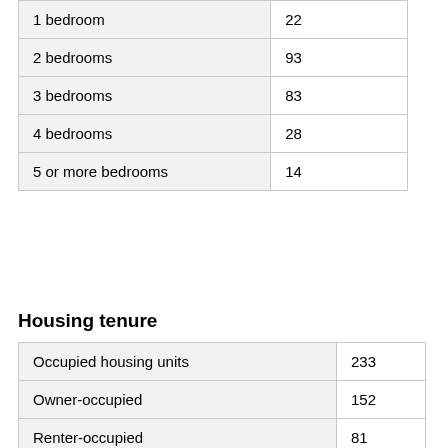| 1 bedroom | 22 |
| 2 bedrooms | 93 |
| 3 bedrooms | 83 |
| 4 bedrooms | 28 |
| 5 or more bedrooms | 14 |
Housing tenure
| Occupied housing units | 233 |
| Owner-occupied | 152 |
| Renter-occupied | 81 |
| Average household size of owner-occupied unit | 2.04 |